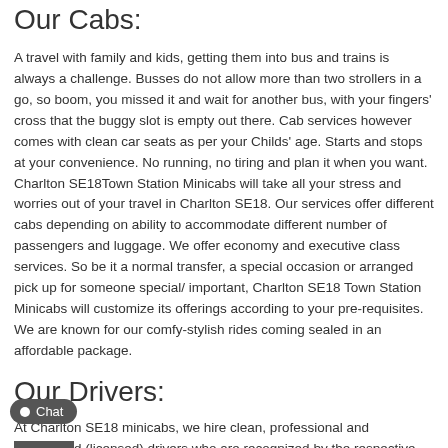Our Cabs:
A travel with family and kids, getting them into bus and trains is always a challenge. Busses do not allow more than two strollers in a go, so boom, you missed it and wait for another bus, with your fingers' cross that the buggy slot is empty out there. Cab services however comes with clean car seats as per your Childs' age. Starts and stops at your convenience. No running, no tiring and plan it when you want. Charlton SE18Town Station Minicabs will take all your stress and worries out of your travel in Charlton SE18. Our services offer different cabs depending on ability to accommodate different number of passengers and luggage. We offer economy and executive class services. So be it a normal transfer, a special occasion or arranged pick up for someone special/ important, Charlton SE18 Town Station Minicabs will customize its offerings according to your pre-requisites. We are known for our comfy-stylish rides coming sealed in an affordable package.
Our Drivers:
At Charlton SE18 minicabs, we hire clean, professional and insured (licensed) drivers who are recognized by the respective authorities. We ensure that our drivers are courteous, dressed and